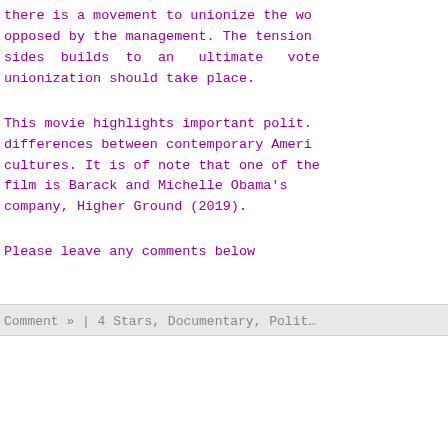there is a movement to unionize the wo opposed by the management. The tension sides builds to an ultimate vote unionization should take place.
This movie highlights important polit. differences between contemporary Ameri cultures. It is of note that one of the film is Barack and Michelle Obama’s company, Higher Ground (2019).
Please leave any comments below
Comment » | 4 Stars, Documentary, Polit…